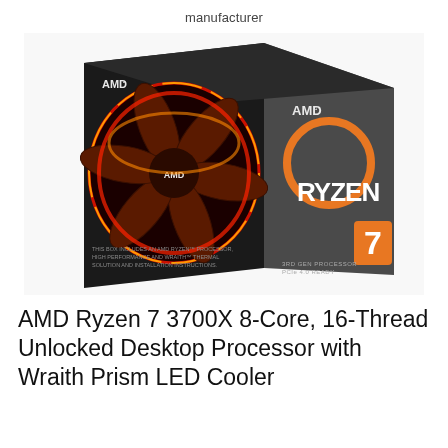manufacturer
[Figure (photo): AMD Ryzen 7 3700X product box showing the Wraith Prism LED cooler on the left side and the RYZEN 7 branding with orange ring logo on the right side, with AMD logo visible on both sides. The box is dark gray/black with orange accents. Text on box includes '3rd Gen Processor' and 'PCIe 4.0 Ready'.]
AMD Ryzen 7 3700X 8-Core, 16-Thread Unlocked Desktop Processor with Wraith Prism LED Cooler